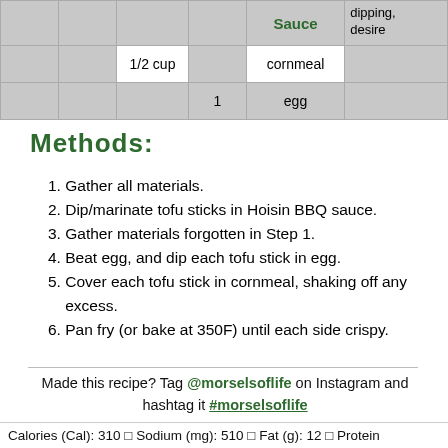|  |  |  |  | Sauce | dipping, desired |
| --- | --- | --- | --- | --- | --- |
|  |  | 1/2 cup |  | cornmeal |  |
|  |  |  | 1 | egg |  |
Methods:
Gather all materials.
Dip/marinate tofu sticks in Hoisin BBQ sauce.
Gather materials forgotten in Step 1.
Beat egg, and dip each tofu stick in egg.
Cover each tofu stick in cornmeal, shaking off any excess.
Pan fry (or bake at 350F) until each side crispy.
Made this recipe? Tag @morselsoflife on Instagram and hashtag it #morselsoflife
Calories (Cal): 310 | Sodium (mg): 510 | Fat (g): 12 | Protein